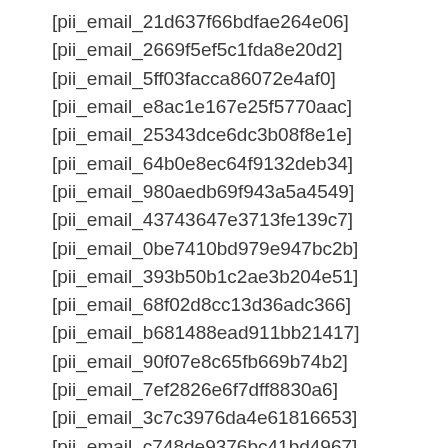[pii_email_21d637f66bdfae264e06]
[pii_email_2669f5ef5c1fda8e20d2]
[pii_email_5ff03facca86072e4af0]
[pii_email_e8ac1e167e25f5770aac]
[pii_email_25343dce6dc3b08f8e1e]
[pii_email_64b0e8ec64f9132deb34]
[pii_email_980aedb69f943a5a4549]
[pii_email_43743647e3713fe139c7]
[pii_email_0be7410bd979e947bc2b]
[pii_email_393b50b1c2ae3b204e51]
[pii_email_68f02d8cc13d36adc366]
[pii_email_b681488ead911bb21417]
[pii_email_90f07e8c65fb669b74b2]
[pii_email_7ef2826e6f7dff8830a6]
[pii_email_3c7c3976da4e61816653]
[pii_email_c748de9376bc41bd4967]
[pii_email_0186a242b8f048119e49]
[pii_email_5c642f8eae65186a415f]
[pii_email_823f0713179d1b6c612a]